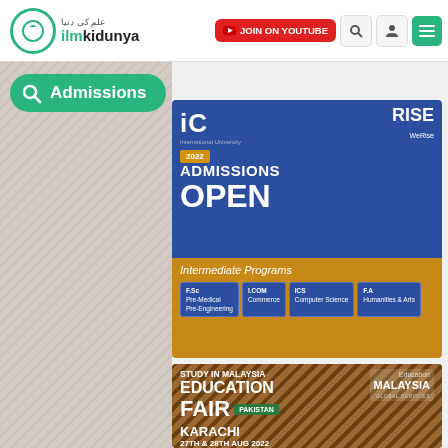[Figure (screenshot): ilmkidunya website navigation bar with logo, YouTube join button, and search/user/menu icons]
[Figure (screenshot): Green Admissions search badge on website]
[Figure (photo): 2022 Admissions Open banner for IC (International University) showing Intermediate Programs: F.Sc Pre-Medical/Pre-Engineering, I.COM Commerce, ICS Computer Science, F.A Humanities & Arts. Features two male students.]
[Figure (photo): Study in Malaysia Education Fair Pakistan - Karachi 27th & 28th Aug 2022 banner with Education Malaysia Global Services logo]